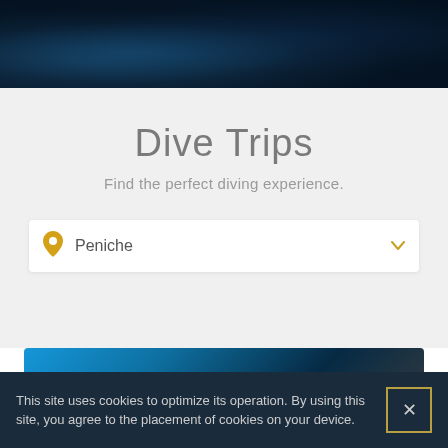[Figure (photo): Dark navy blue underwater/ocean themed hero image at top of page]
Dive Trips
Find the perfect diving experience.
Peniche
[Figure (photo): Underwater photo with blue and dark tones showing 'Double Dive Trip' card partially visible]
This site uses cookies to optimize its operation. By using this site, you agree to the placement of cookies on your device.